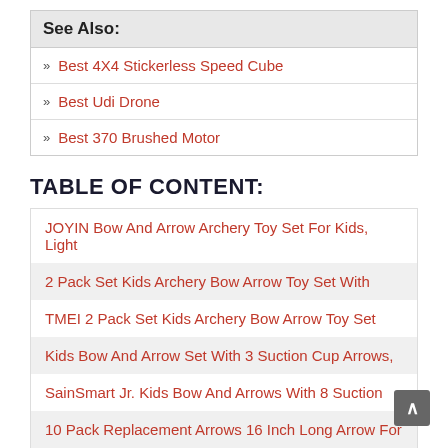See Also:
Best 4X4 Stickerless Speed Cube
Best Udi Drone
Best 370 Brushed Motor
TABLE OF CONTENT:
JOYIN Bow And Arrow Archery Toy Set For Kids, Light
2 Pack Set Kids Archery Bow Arrow Toy Set With
TMEI 2 Pack Set Kids Archery Bow Arrow Toy Set
Kids Bow And Arrow Set With 3 Suction Cup Arrows,
SainSmart Jr. Kids Bow And Arrows With 8 Suction
10 Pack Replacement Arrows 16 Inch Long Arrow For
JOYIN 2 Pack Graviton Bow And Arrow Archery Toy,
Sillbird Kids Bow And Arrow With Play Foam Toy Gun,
POKONBOY 16 Pack Replacement Suction Cup